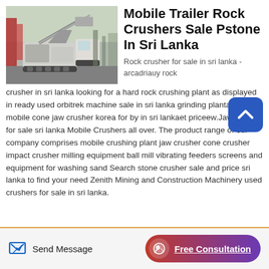[Figure (photo): Mobile trailer rock crusher machine photographed outdoors]
Mobile Trailer Rock Crushers Sale Pstone In Sri Lanka
Rock crusher for sale in sri lanka - arcadriauy rock crusher in sri lanka looking for a hard rock crushing plant as displayed in ready used orbitrek machine sale in sri lanka grinding plantan 31 mobile cone jaw crusher korea for by in sri lankaet priceew.Jaw crusher for sale sri lanka Mobile Crushers all over. The product range of our company comprises mobile crushing plant jaw crusher cone crusher impact crusher milling equipment ball mill vibrating feeders screens and equipment for washing sand Search stone crusher sale and price sri lanka to find your need Zenith Mining and Construction Machinery used crushers for sale in sri lanka.
Send Message
Free Consultation